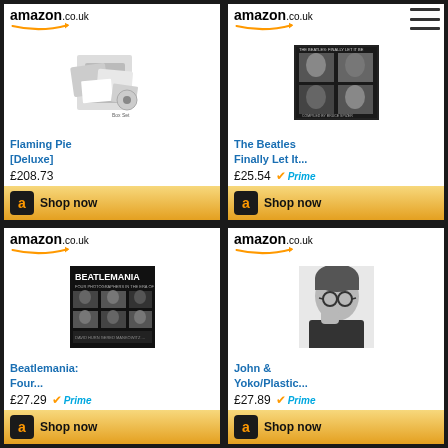[Figure (screenshot): Amazon.co.uk product card: Flaming Pie [Deluxe] - £208.73 with Shop now button]
[Figure (screenshot): Amazon.co.uk product card: The Beatles Finally Let It... - £25.54 with Prime badge and Shop now button]
[Figure (screenshot): Amazon.co.uk product card: Beatlemania: Four... - £27.29 with Prime badge]
[Figure (screenshot): Amazon.co.uk product card: John & Yoko/Plastic... - £27.89 with Prime badge]